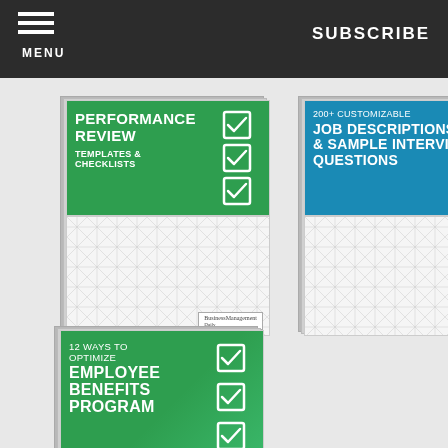MENU | SUBSCRIBE
[Figure (illustration): Performance Review Templates & Checklists book/document card with green header and checkboxes]
[Figure (illustration): 200+ Customizable Job Descriptions & Sample Interview Questions book/document card with blue header and checkboxes]
[Figure (illustration): 12 Ways to Optimize Employee Benefits Program book/document card with green header and checkboxes]